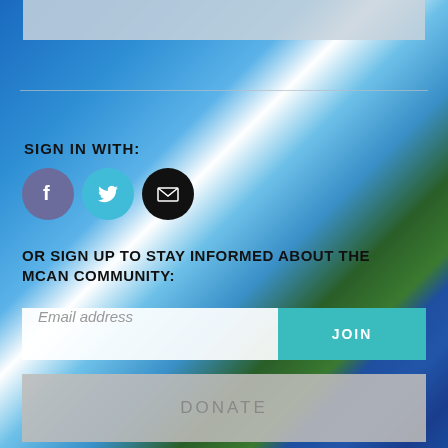[Figure (photo): Background photo of solar panels under a bright blue sky with sun glare and green trees]
SIGN IN WITH:
[Figure (illustration): Three social sign-in icon circles: Facebook (purple), Twitter (cyan), Email (black)]
OR SIGN UP TO STAY INFORMED ABOUT THE MCAN COMMUNITY:
Email address
JOIN
DONATE